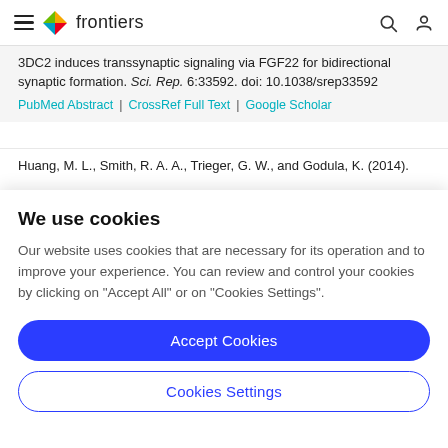frontiers
3DC2 induces transsynaptic signaling via FGF22 for bidirectional synaptic formation. Sci. Rep. 6:33592. doi: 10.1038/srep33592
PubMed Abstract | CrossRef Full Text | Google Scholar
Huang, M. L., Smith, R. A. A., Trieger, G. W., and Godula, K. (2014).
We use cookies
Our website uses cookies that are necessary for its operation and to improve your experience. You can review and control your cookies by clicking on "Accept All" or on "Cookies Settings".
Accept Cookies
Cookies Settings